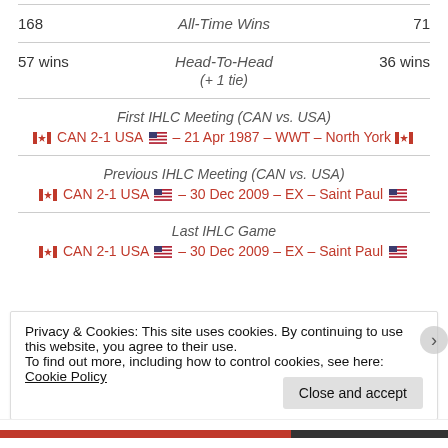| Left | Center | Right |
| --- | --- | --- |
| 168 | All-Time Wins | 71 |
| 57 wins | Head-To-Head
(+ 1 tie) | 36 wins |
First IHLC Meeting (CAN vs. USA)
🇨🇦 CAN 2-1 USA 🇺🇸 – 21 Apr 1987 – WWT – North York 🇨🇦
Previous IHLC Meeting (CAN vs. USA)
🇨🇦 CAN 2-1 USA 🇺🇸 – 30 Dec 2009 – EX – Saint Paul 🇺🇸
Last IHLC Game
🇨🇦 CAN 2-1 USA 🇺🇸 – 30 Dec 2009 – EX – Saint Paul 🇺🇸
Privacy & Cookies: This site uses cookies. By continuing to use this website, you agree to their use.
To find out more, including how to control cookies, see here: Cookie Policy